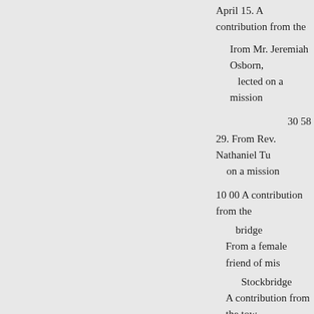April 15. A contribution from the
Irom Mr. Jeremiah Osborn, lected on a mission
30 58
29. From Rev. Nathaniel Tu- on a mission
10 00 A contribution from the bridge
From a female friend of mis-
Stockbridge
A contribution from the tow- mond
22 53 Aug. 24. From a female
10 00 Sept. 1. From the Rev. A
profits arising from the sale of th-
first volume of the Panoplist 21 3 missions
12 00 16. A contribution from